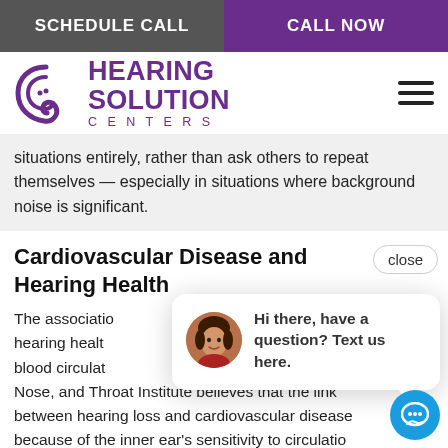SCHEDULE CALL | CALL NOW
[Figure (logo): Hearing Solution Centers logo with purple swirl ear icon and purple text]
situations entirely, rather than ask others to repeat themselves — especially in situations where background noise is significant.
Cardiovascular Disease and Hearing Health
The association between [hearing health] and blood circulation... Nose, and Throat Institute believes that the link between hearing loss and cardiovascular disease because of the inner ear's sensitivity to circulation. The disease causes hardening of the arteries, which
[Figure (screenshot): Chat popup with avatar photo, text: Hi there, have a question? Text us here. With close button and blue chat icon circle.]